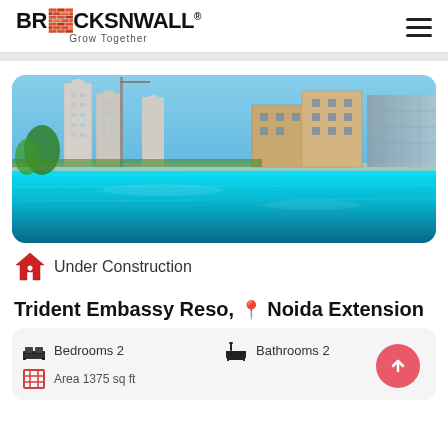BRICKSNWALL® Grow Together
[Figure (photo): Luxury residential apartment complex with swimming pool in foreground, tall white towers and sandstone-colored building under blue sky]
Under Construction
Trident Embassy Reso, Noida Extension
Bedrooms 2    Bathrooms 2